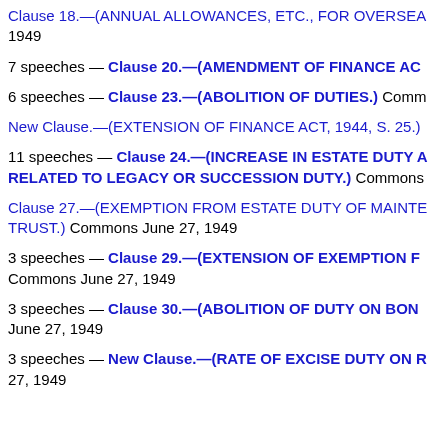Clause 18.—(ANNUAL ALLOWANCES, ETC., FOR OVERSEAS 1949
7 speeches — Clause 20.—(AMENDMENT OF FINANCE AC
6 speeches — Clause 23.—(ABOLITION OF DUTIES.) Comm
New Clause.—(EXTENSION OF FINANCE ACT, 1944, S. 25.)
11 speeches — Clause 24.—(INCREASE IN ESTATE DUTY RELATED TO LEGACY OR SUCCESSION DUTY.) Commons
Clause 27.—(EXEMPTION FROM ESTATE DUTY OF MAINTE TRUST.) Commons June 27, 1949
3 speeches — Clause 29.—(EXTENSION OF EXEMPTION F Commons June 27, 1949
3 speeches — Clause 30.—(ABOLITION OF DUTY ON BON June 27, 1949
3 speeches — New Clause.—(RATE OF EXCISE DUTY ON R 27, 1949